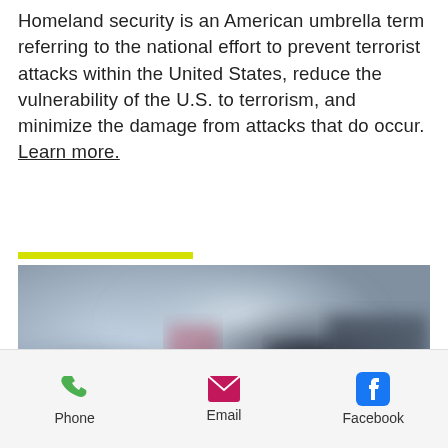Homeland security is an American umbrella term referring to the national effort to prevent terrorist attacks within the United States, reduce the vulnerability of the U.S. to terrorism, and minimize the damage from attacks that do occur. Learn more.
[Figure (photo): Blurred/obscured photograph showing people in what appears to be a security or official setting, with blue and grey tones.]
Phone  Email  Facebook